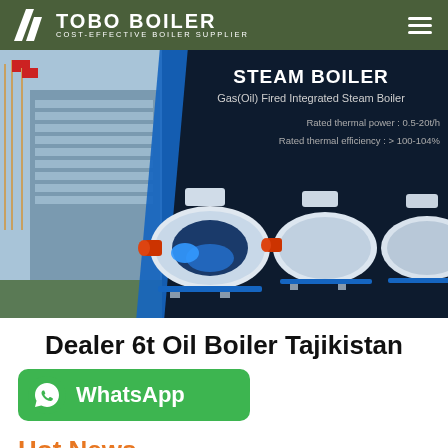TOBO BOILER — COST-EFFECTIVE BOILER SUPPLIER
[Figure (screenshot): Banner image showing industrial building on left and Steam Boiler product hero on dark background with boiler machines. Text: STEAM BOILER, Gas(Oil) Fired Integrated Steam Boiler, Rated thermal power: 0.5-20t/h, Rated thermal efficiency: > 100-104%]
Dealer 6t Oil Boiler Tajikistan
[Figure (infographic): WhatsApp contact button — green rounded rectangle with WhatsApp logo and text 'WhatsApp']
Hot News